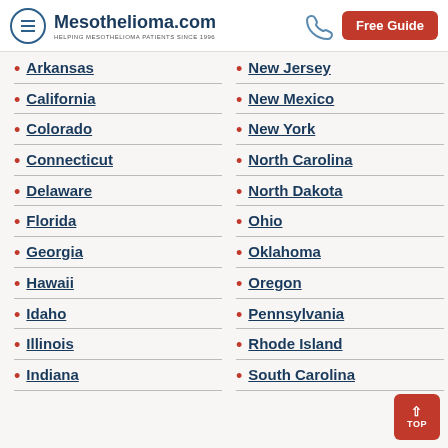Mesothelioma.com — Helping mesothelioma patients since 1996 | Free Guide
Arkansas
California
Colorado
Connecticut
Delaware
Florida
Georgia
Hawaii
Idaho
Illinois
Indiana
New Jersey
New Mexico
New York
North Carolina
North Dakota
Ohio
Oklahoma
Oregon
Pennsylvania
Rhode Island
South Carolina